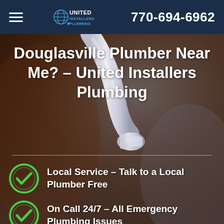United Installers Plumbing | 770-694-6962
[Figure (photo): Background photo of a chrome bathroom faucet with dark warm-toned background]
Douglasville Plumber Near Me? – United Installers Plumbing
Local Service – Talk to a Local Plumber Free
On Call 24/7 – All Emergency Plumbing Issues